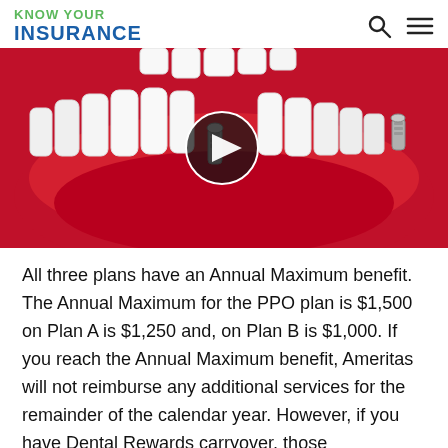KNOW YOUR INSURANCE
[Figure (illustration): 3D medical illustration of a lower jaw with dental implants and a video play button overlay, showing teeth and gum tissue with metallic implant screws]
All three plans have an Annual Maximum benefit. The Annual Maximum for the PPO plan is $1,500 on Plan A is $1,250 and, on Plan B is $1,000. If you reach the Annual Maximum benefit, Ameritas will not reimburse any additional services for the remainder of the calendar year. However, if you have Dental Rewards carryover, those accumulated dollars can go towards additional covered benefits. Dental plan members who have at least one covered procedure during the calendar year and have total